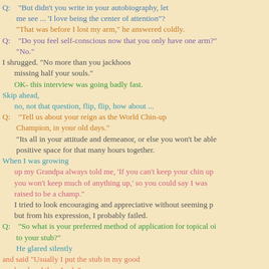Q:   "But didn't you write in your autobiography, let me see ... 'I love being the center of attention"?
"That was before I lost my arm," he answered coldly.
Q:   "Do you feel self-conscious now that you only have one arm?"
"No."
I shrugged. "No more than you jackhoos missing half your souls."
OK- this interview was going badly fast.
Skip ahead,
   no, not that question, flip, flip, how about ...
Q:   "Tell us about your reign as the World Chin-up Champion, in your old days."
"Its all in your attitude and demeanor, or else you won't be able positive space for that many hours together.
When I was growing up my Grandpa always told me, 'If you can't keep your chin up you won't keep much of anything up,' so you could say I was raised to be a champ."
I tried to look encouraging and appreciative without seeming p but from his expression, I probably failed.
Q:   "So what is your preferred method of application for topical oi to your stub?"
He glared silently
and said "Usually I put the stub in my good hand and then I rub."